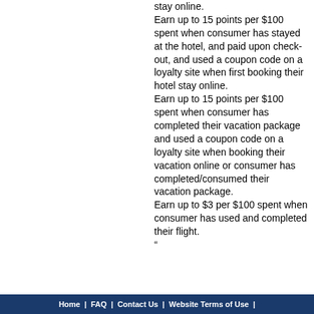stay online. Earn up to 15 points per $100 spent when consumer has stayed at the hotel, and paid upon check-out, and used a coupon code on a loyalty site when first booking their hotel stay online. Earn up to 15 points per $100 spent when consumer has completed their vacation package and used a coupon code on a loyalty site when booking their vacation online or consumer has completed/consumed their vacation package. Earn up to $3 per $100 spent when consumer has used and completed their flight. "
Home  |  FAQ  |  Contact Us  |  Website Terms of Use  |